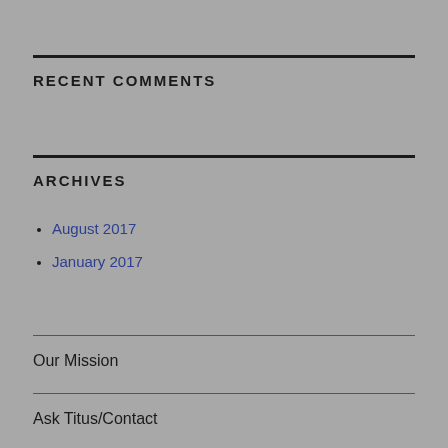RECENT COMMENTS
ARCHIVES
August 2017
January 2017
Our Mission
Ask Titus/Contact